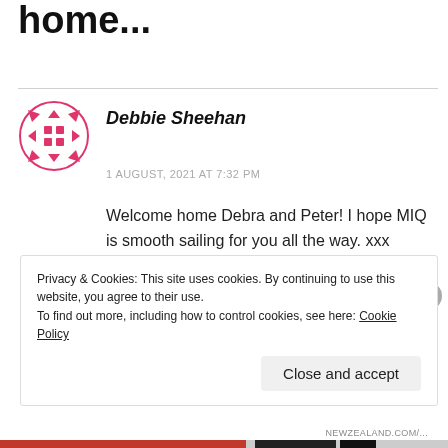home...
Debbie Sheehan
1 AUGUST, 2021 AT 7:32 PM
Welcome home Debra and Peter! I hope MIQ is smooth sailing for you all the way. xxx
REPLY
Privacy & Cookies: This site uses cookies. By continuing to use this website, you agree to their use.
To find out more, including how to control cookies, see here: Cookie Policy
Close and accept